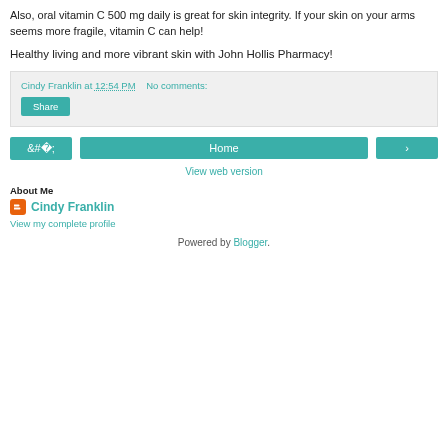Also, oral vitamin C 500 mg daily is great for skin integrity. If your skin on your arms seems more fragile, vitamin C can help!
Healthy living and more vibrant skin with John Hollis Pharmacy!
Cindy Franklin at 12:54 PM    No comments:
Share
[Figure (screenshot): Navigation buttons: left arrow, Home, right arrow]
View web version
About Me
Cindy Franklin
View my complete profile
Powered by Blogger.